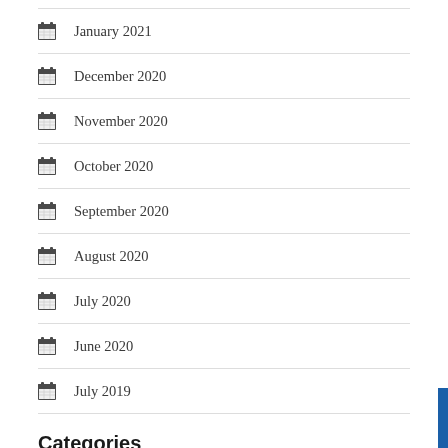January 2021
December 2020
November 2020
October 2020
September 2020
August 2020
July 2020
June 2020
July 2019
Categories